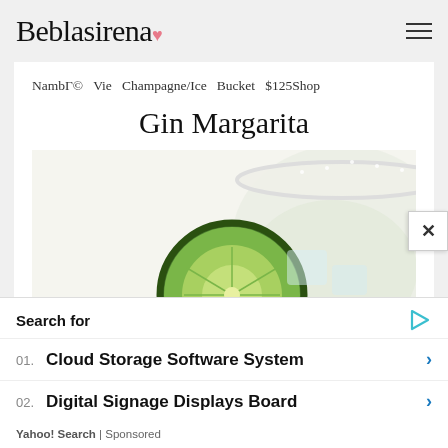Beblasirena
NambГ© Vie Champagne/Ice Bucket $125Shop
Gin Margarita
[Figure (photo): A margarita cocktail glass with a lime slice garnish and salted rim, close-up view from above showing ice and a clear green-yellow liquid]
Search for
01. Cloud Storage Software System
02. Digital Signage Displays Board
Yahoo! Search | Sponsored